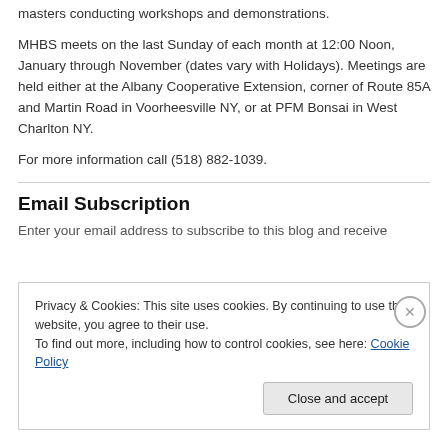masters conducting workshops and demonstrations.
MHBS meets on the last Sunday of each month at 12:00 Noon, January through November (dates vary with Holidays). Meetings are held either at the Albany Cooperative Extension, corner of Route 85A and Martin Road in Voorheesville NY, or at PFM Bonsai in West Charlton NY.
For more information call (518) 882-1039.
Email Subscription
Enter your email address to subscribe to this blog and receive
Privacy & Cookies: This site uses cookies. By continuing to use this website, you agree to their use.
To find out more, including how to control cookies, see here: Cookie Policy
Close and accept